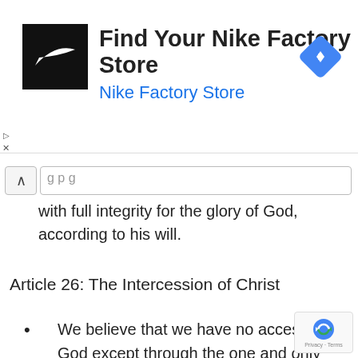[Figure (screenshot): Nike Factory Store advertisement banner with Nike swoosh logo on black background, store title 'Find Your Nike Factory Store', subtitle 'Nike Factory Store' in blue, and a blue navigation diamond icon on the right]
with full integrity for the glory of God, according to his will.
Article 26: The Intercession of Christ
We believe that we have no access to God except through the one and only Mediator and Intercessor: Jesus Christ the Righteous.^62He therefore was made man, uniting together the divine and human natures, so that we human beings might have access to the divine Majesty. Otherwise we would ha access.But this Mediator, whom the Father has